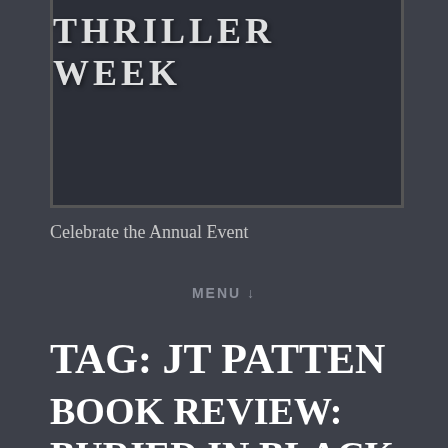[Figure (other): Dark banner image with white bold text partially visible showing 'THRILLER WEEK' in large serif uppercase letters]
Celebrate the Annual Event
MENU ↓
TAG: JT PATTEN
BOOK REVIEW: BURIED IN BLACK BY J.T. PATTEN